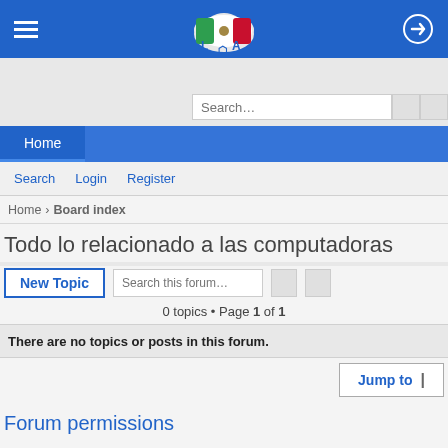[Figure (screenshot): Website header bar with blue background, hamburger menu icon on left, LCA logo with Mexican flag in center, login icon on right]
[Figure (screenshot): Search input box with placeholder text 'Search...' and two small buttons]
[Figure (screenshot): Navigation bar with 'Home' tab active on blue background]
Search  Login  Register
Home  Board index
Todo lo relacionado a las computadoras
[Figure (screenshot): New Topic button and Search this forum input with two small buttons]
0 topics • Page 1 of 1
There are no topics or posts in this forum.
[Figure (screenshot): Jump to button with dropdown arrow]
Forum permissions